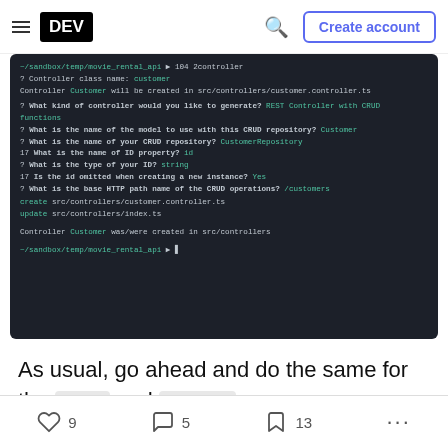DEV — Create account
[Figure (screenshot): Terminal screenshot showing NestJS CLI commands for generating a Customer controller with CRUD operations. Shows prompts and answers including controller class name: customer, REST Controller with CRUD functions, CustomerRepository, id property, string type, Yes for omitted id, /customers base path. Files created: src/controllers/customer.controller.ts and src/controllers/index.ts]
As usual, go ahead and do the same for the film and rental resources.
9 likes  5 comments  13 bookmarks